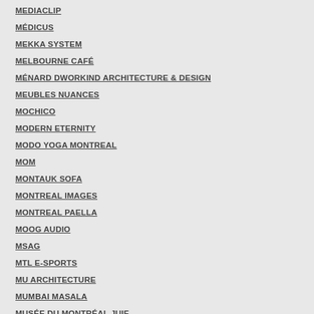MEDIACLIP
MÉDICUS
MEKKA SYSTEM
MELBOURNE CAFÉ
MÉNARD DWORKIND ARCHITECTURE & DESIGN
MEUBLES NUANCES
MOCHICO
MODERN ETERNITY
MODO YOGA MONTREAL
MOM
MONTAUK SOFA
MONTREAL IMAGES
MONTREAL PAELLA
MOOG AUDIO
MSAG
MTL E-SPORTS
MU ARCHITECTURE
MUMBAI MASALA
MUSÉE DU MONTRÉAL JUIF
MUZIQUE
MY INTELLIGENT MACHINES